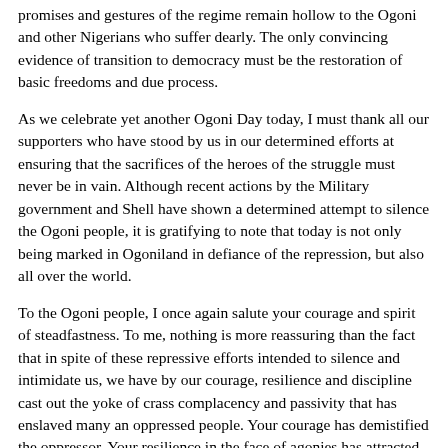promises and gestures of the regime remain hollow to the Ogoni and other Nigerians who suffer dearly. The only convincing evidence of transition to democracy must be the restoration of basic freedoms and due process.
As we celebrate yet another Ogoni Day today, I must thank all our supporters who have stood by us in our determined efforts at ensuring that the sacrifices of the heroes of the struggle must never be in vain. Although recent actions by the Military government and Shell have shown a determined attempt to silence the Ogoni people, it is gratifying to note that today is not only being marked in Ogoniland in defiance of the repression, but also all over the world.
To the Ogoni people, I once again salute your courage and spirit of steadfastness. To me, nothing is more reassuring than the fact that in spite of these repressive efforts intended to silence and intimidate us, we have by our courage, resilience and discipline cast out the yoke of crass complacency and passivity that has enslaved many an oppressed people. Your courage has demistified the oppressor. Your resilience in the face of agonies has attracted world attention and reprieved the oppressor a slumbering conscience . Your discipline in the face of provocations has inspired hope and rewarded faith in non-violence as a weapon for fighting oppression.